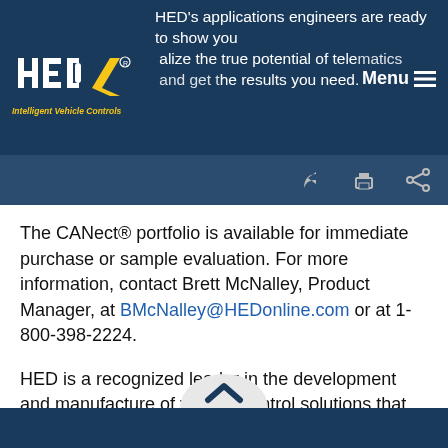HED's applications engineers are ready to show you how to realize the true potential of telematics and get the results you need.
[Figure (logo): HED Intelligent Vehicle Controls logo — white stylized arrow/letters on dark blue background with yellow tagline]
The CANect® portfolio is available for immediate purchase or sample evaluation. For more information, contact Brett McNalley, Product Manager, at BMcNalley@HEDonline.com or at 1-800-398-2224.
HED is a recognized leader in the development and manufacture of vehicle control solutions that increase vehicle uptime and improve safety and productivity. Visit us at www.HEDonline.com.